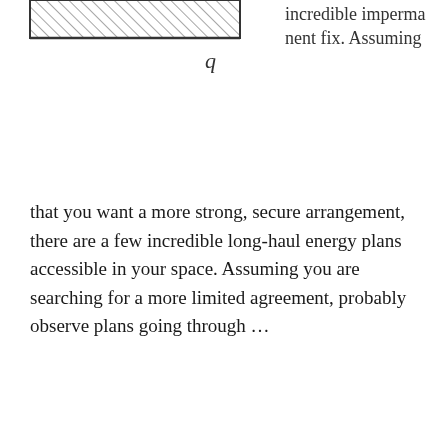[Figure (engineering-diagram): Partial diagram showing a hatched rectangular shape with label 'q' below it, cropped at top]
incredible impermanent fix. Assuming that you want a more strong, secure arrangement, there are a few incredible long-haul energy plans accessible in your space. Assuming you are searching for a more limited agreement, probably observe plans going through …
Categories: Marketing
Latest Books:
[Figure (photo): Book cover banner with text 'BOOK ONE OF THE 1929 SERIES' on dark background]